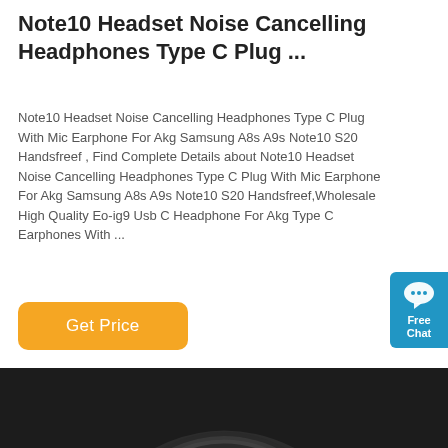Note10 Headset Noise Cancelling Headphones Type C Plug ...
Note10 Headset Noise Cancelling Headphones Type C Plug With Mic Earphone For Akg Samsung A8s A9s Note10 S20 Handsfreef , Find Complete Details about Note10 Headset Noise Cancelling Headphones Type C Plug With Mic Earphone For Akg Samsung A8s A9s Note10 S20 Handsfreef,Wholesale High Quality Eo-ig9 Usb C Headphone For Akg Type C Earphones With ...
[Figure (other): Free Chat widget button with chat bubble icon in teal/blue color]
[Figure (photo): Close-up photo of a black and blue gaming headset showing the headband arc with blue accent stripe]
Get Price